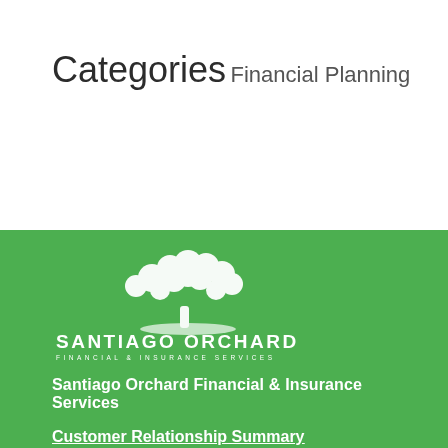Categories
Financial Planning
[Figure (logo): Santiago Orchard Financial & Insurance Services logo — white tree illustration above white text 'SANTIAGO ORCHARD FINANCIAL & INSURANCE SERVICES' on green background]
Santiago Orchard Financial & Insurance Services
Customer Relationship Summary